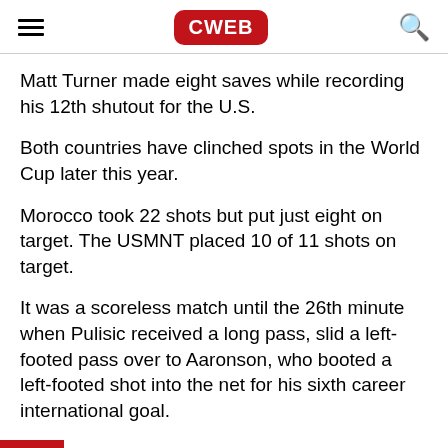CWEB
Matt Turner made eight saves while recording his 12th shutout for the U.S.
Both countries have clinched spots in the World Cup later this year.
Morocco took 22 shots but put just eight on target. The USMNT placed 10 of 11 shots on target.
It was a scoreless match until the 26th minute when Pulisic received a long pass, slid a left-footed pass over to Aaronson, who booted a left-footed shot into the net for his sixth career international goal.
minutes later, the United States added to the